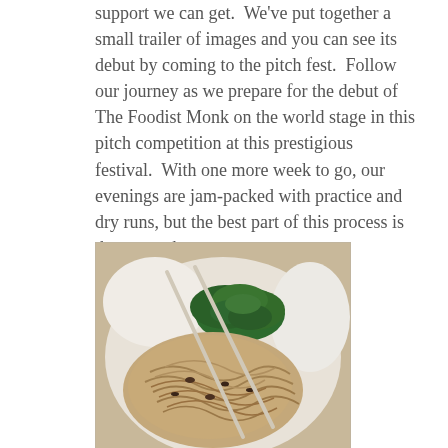support we can get.  We've put together a small trailer of images and you can see its debut by coming to the pitch fest.  Follow our journey as we prepare for the debut of The Foodist Monk on the world stage in this pitch competition at this prestigious festival.  With one more week to go, our evenings are jam-packed with practice and dry runs, but the best part of this process is the research.
[Figure (photo): A bowl of noodles with green vegetables (bok choy) and chopsticks resting on top, photographed from above on a white plate.]